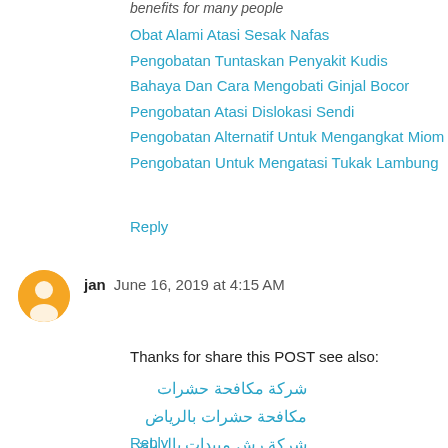benefits for many people
Obat Alami Atasi Sesak Nafas
Pengobatan Tuntaskan Penyakit Kudis
Bahaya Dan Cara Mengobati Ginjal Bocor
Pengobatan Atasi Dislokasi Sendi
Pengobatan Alternatif Untuk Mengangkat Miom
Pengobatan Untuk Mengatasi Tukak Lambung
Reply
jan   June 16, 2019 at 4:15 AM
Thanks for share this POST see also:
شركة مكافحة حشرات
مكافحة حشرات بالرياض
شركة رش مبيدات بالرياض
Reply